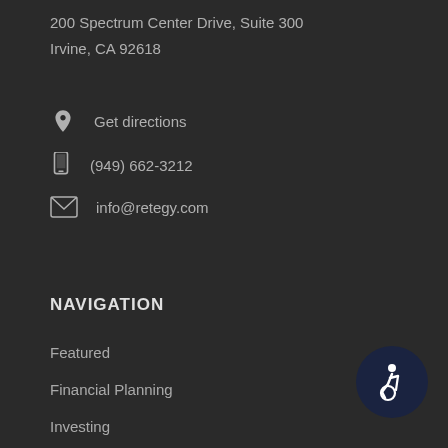200 Spectrum Center Drive, Suite 300
Irvine, CA 92618
Get directions
(949) 662-3212
info@retegy.com
NAVIGATION
Featured
Financial Planning
Investing
Market Update
Retirement
[Figure (illustration): Accessibility icon badge — circular dark navy button with wheelchair accessibility symbol in white]